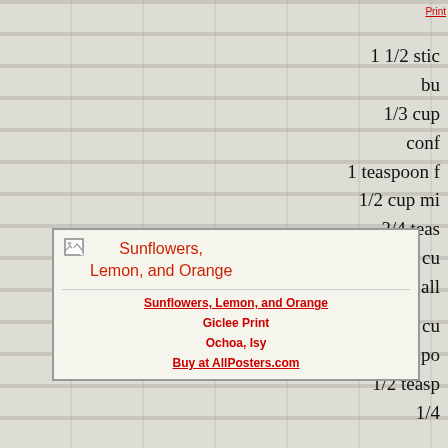Print
1 1/2 sticks bu
1/3 cup conf
1 teaspoon f
1/2 cup min
3/4 teas
1 1/2 cup all
1 1/3 cu
6 tablespoo
1/2 teasp
1/4
[Figure (illustration): Image of 'Sunflowers, Lemon, and Orange' artwork with broken image icon and red title text]
Sunflowers, Lemon, and Orange
Giclee Print
Ochoa, Isy
Buy at AllPosters.com
In a bowl with an electric m confectioner's sugar, sifted, and, Beat in 1/2 teaspoon of the zest a pinch of salt, add 1 1/2 cups of mixture until it is combined well baking pan and bake it in the mic